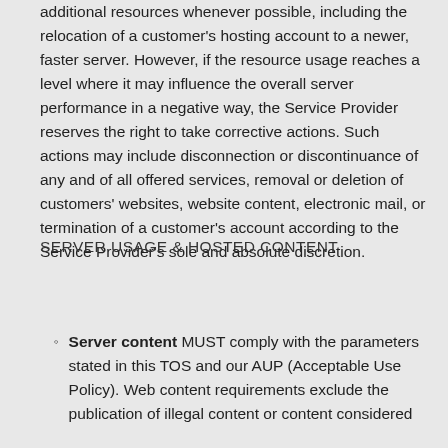additional resources whenever possible, including the relocation of a customer's hosting account to a newer, faster server. However, if the resource usage reaches a level where it may influence the overall server performance in a negative way, the Service Provider reserves the right to take corrective actions. Such actions may include disconnection or discontinuance of any and of all offered services, removal or deletion of customers' websites, website content, electronic mail, or termination of a customer's account according to the Service Provider's sole and absolute discretion.
SERVER USAGE & HOSTED CONTENT
Server content MUST comply with the parameters stated in this TOS and our AUP (Acceptable Use Policy). Web content requirements exclude the publication of illegal content or content considered